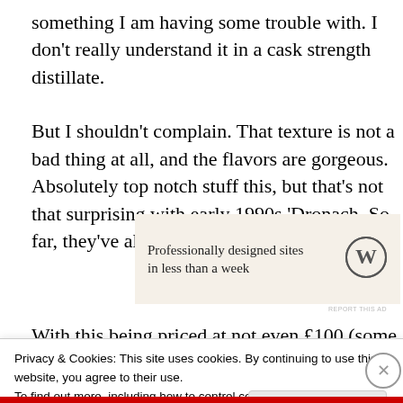something I am having some trouble with. I don’t really understand it in a cask strength distillate.
But I shouldn’t complain. That texture is not a bad thing at all, and the flavors are gorgeous. Absolutely top notch stuff this, but that’s not that surprising with early 1990s ‘Dronach. So far, they’ve all been lovely.
[Figure (other): WordPress advertisement: 'Professionally designed sites in less than a week' with WordPress logo]
With this being priced at not even £100 (some £130 at
Privacy & Cookies: This site uses cookies. By continuing to use this website, you agree to their use.
To find out more, including how to control cookies, see here: Cookie Policy